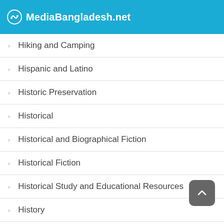MediaBangladesh.net
Hiking and Camping
Hispanic and Latino
Historic Preservation
Historical
Historical and Biographical Fiction
Historical Fiction
Historical Study and Educational Resources
History
History and Criticism
History and Culture